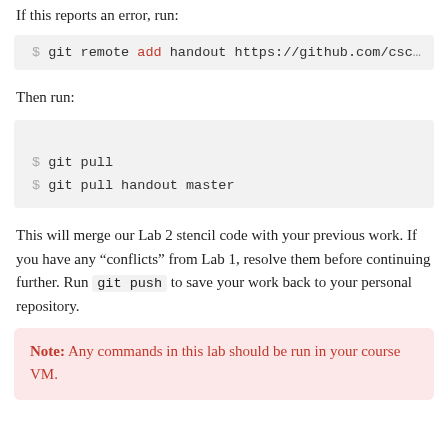If this reports an error, run:
$ git remote add handout https://github.com/csc
Then run:
$ git pull
$ git pull handout master
This will merge our Lab 2 stencil code with your previous work. If you have any “conflicts” from Lab 1, resolve them before continuing further. Run git push to save your work back to your personal repository.
Note: Any commands in this lab should be run in your course VM.